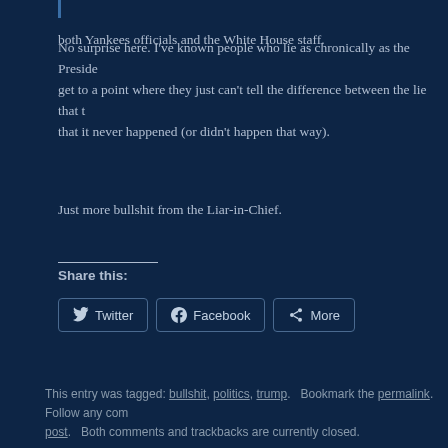both Yankees officials and the White House staff.
No surprise here. I've known people who lie as chronically as the President get to a point where they just can't tell the difference between the lie that t that it never happened (or didn't happen that way).
Just more bullshit from the Liar-in-Chief.
Share this:
Twitter  Facebook  More
This entry was tagged: bullshit, politics, trump.   Bookmark the permalink.   Follow any com post.   Both comments and trackbacks are currently closed.
« Tr
Jerry Falwell Jr. Taking Leave of Abs...